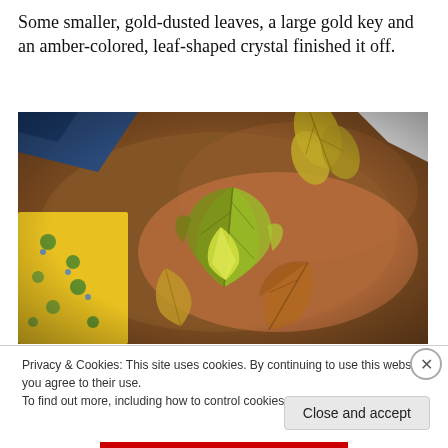Some smaller, gold-dusted leaves, a large gold key and an amber-colored, leaf-shaped crystal finished it off.
[Figure (photo): Close-up photo of gold and green metallic leaf decorations resting on a brown leather surface, with yellow floral fabric visible on the left side.]
Privacy & Cookies: This site uses cookies. By continuing to use this website, you agree to their use.
To find out more, including how to control cookies, see here: Cookie Policy
Close and accept